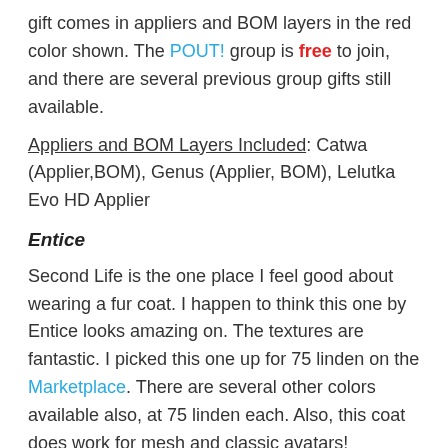gift comes in appliers and BOM layers in the red color shown. The POUT! group is free to join, and there are several previous group gifts still available.
Appliers and BOM Layers Included: Catwa (Applier,BOM), Genus (Applier, BOM), Lelutka Evo HD Applier
Entice
Second Life is the one place I feel good about wearing a fur coat. I happen to think this one by Entice looks amazing on. The textures are fantastic. I picked this one up for 75 linden on the Marketplace. There are several other colors available also, at 75 linden each. Also, this coat does work for mesh and classic avatars!
Sizes Included: Maitreya Lara, TMP, Slink (Physique, Hourglass), Belleza (Isis, Freya, Venus), Fitmesh + Alpha Layer